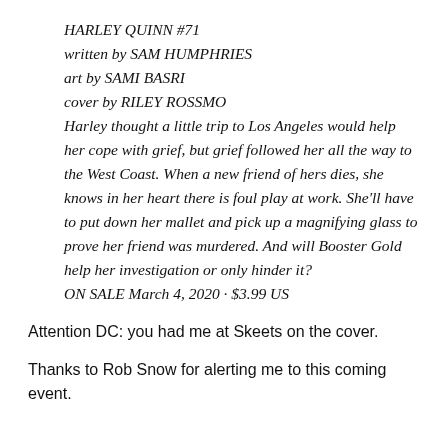HARLEY QUINN #71
written by SAM HUMPHRIES
art by SAMI BASRI
cover by RILEY ROSSMO
Harley thought a little trip to Los Angeles would help her cope with grief, but grief followed her all the way to the West Coast. When a new friend of hers dies, she knows in her heart there is foul play at work. She'll have to put down her mallet and pick up a magnifying glass to prove her friend was murdered. And will Booster Gold help her investigation or only hinder it?
ON SALE March 4, 2020 · $3.99 US
Attention DC: you had me at Skeets on the cover.
Thanks to Rob Snow for alerting me to this coming event.